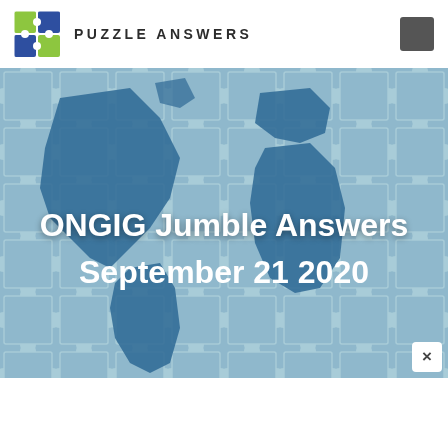PUZZLE ANSWERS
[Figure (illustration): World map puzzle pieces background image in blue/teal tones with darker blue continent shapes]
ONGIG Jumble Answers September 21 2020